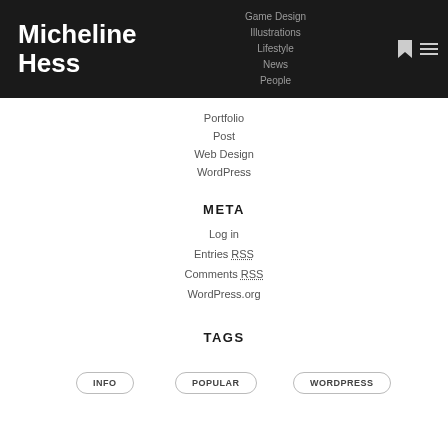Micheline Hess
Game Design
Illustrations
Lifestyle
News
People
Portfolio
Post
Web Design
WordPress
META
Log in
Entries RSS
Comments RSS
WordPress.org
TAGS
INFO
POPULAR
WORDPRESS